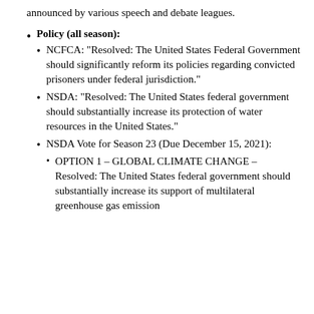announced by various speech and debate leagues.
Policy (all season):
NCFCA: "Resolved: The United States Federal Government should significantly reform its policies regarding convicted prisoners under federal jurisdiction."
NSDA: "Resolved: The United States federal government should substantially increase its protection of water resources in the United States."
NSDA Vote for Season 23 (Due December 15, 2021):
OPTION 1 – GLOBAL CLIMATE CHANGE – Resolved: The United States federal government should substantially increase its support of multilateral greenhouse gas emission